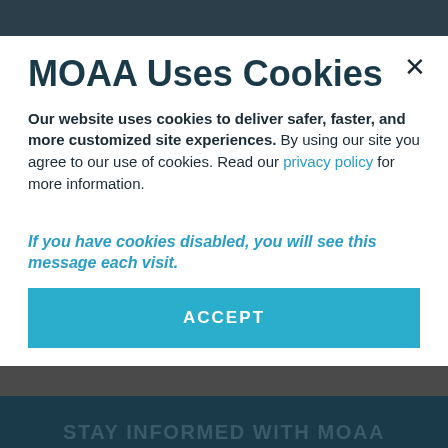MOAA Uses Cookies
Our website uses cookies to deliver safer, faster, and more customized site experiences. By using our site you agree to our use of cookies. Read our privacy policy for more information.
If you have cookies disabled, you will see this message each visit.
ACCEPT
STAY INFORMED WITH MOAA